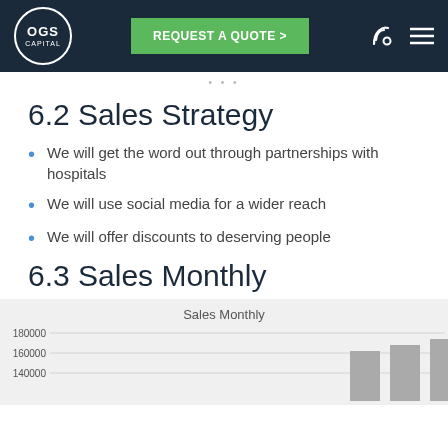OGS Capital | REQUEST A QUOTE >
6.2 Sales Strategy
We will get the word out through partnerships with hospitals
We will use social media for a wider reach
We will offer discounts to deserving people
6.3 Sales Monthly
[Figure (bar-chart): Bar chart showing Sales Monthly with y-axis values visible: 180000, 160000, 140000. Bars visible at rightmost portion, partially cut off.]